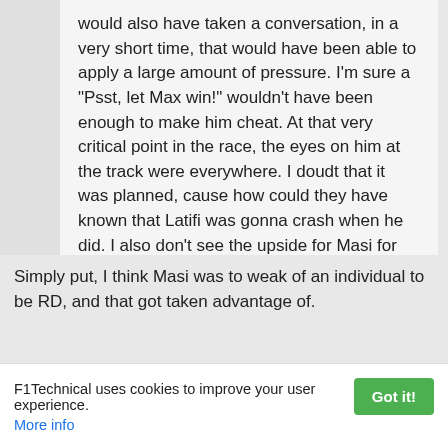would also have taken a conversation, in a very short time, that would have been able to apply a large amount of pressure. I'm sure a "Psst, let Max win!" wouldn't have been enough to make him cheat. At that very critical point in the race, the eyes on him at the track were everywhere. I doudt that it was planned, cause how could they have known that Latifi was gonna crash when he did. I also don't see the upside for Masi for having preplanned this with RBR for example. Prety sure that he was smart enough to know this wouldn't fair well for his F1 future. At any rate, him getting fired, assures that his replacements will act in good faith next time.
Simply put, I think Masi was to weak of an individual to be RD, and that got taken advantage of.
F1Technical uses cookies to improve your user experience.   Got it!   More info